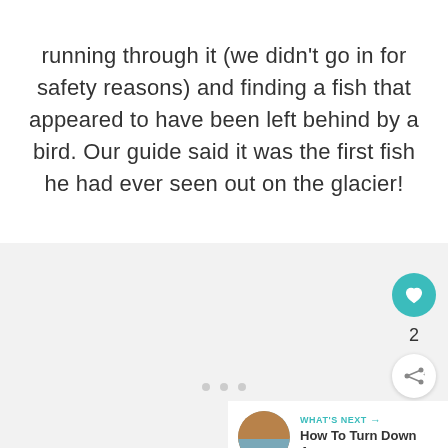running through it (we didn't go in for safety reasons) and finding a fish that appeared to have been left behind by a bird. Our guide said it was the first fish he had ever seen out on the glacier!
[Figure (infographic): Gray background panel with three small circular dot indicators (pagination dots), social action buttons (heart/like button in teal, like count '2', share button), and a 'What's Next' card showing a circular thumbnail image and text 'How To Turn Down A...']